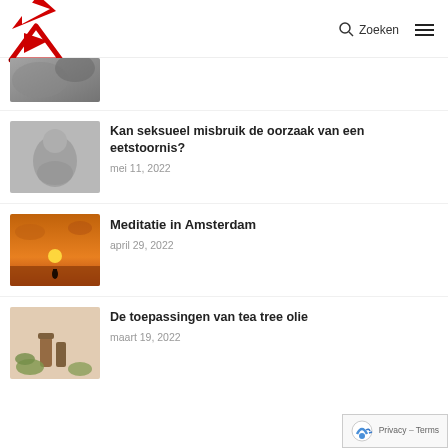VOORNMEDIA — Zoeken / Menu
[Figure (photo): Black and white photo (partially visible, cropped at top) — person curled up]
Kan seksueel misbruik de oorzaak van een eetstoornis?
mei 11, 2022
[Figure (photo): Black and white photo of a person sitting curled up hugging knees]
Meditatie in Amsterdam
april 29, 2022
[Figure (photo): Sunset photo with silhouette of person standing on water, orange sky]
De toepassingen van tea tree olie
maart 19, 2022
[Figure (photo): Photo of essential oil bottles and plants, partial view at bottom]